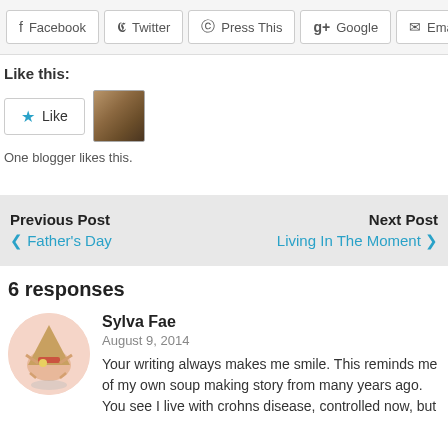[Figure (other): Social share buttons: Facebook, Twitter, Press This, Google+, Email]
Like this:
[Figure (other): Like button with star icon and blogger avatar thumbnail]
One blogger likes this.
Previous Post ‹ Father's Day
Next Post Living In The Moment ›
6 responses
Sylva Fae
August 9, 2014
Your writing always makes me smile. This reminds me of my own soup making story from many years ago. You see I live with crohns disease, controlled now, but